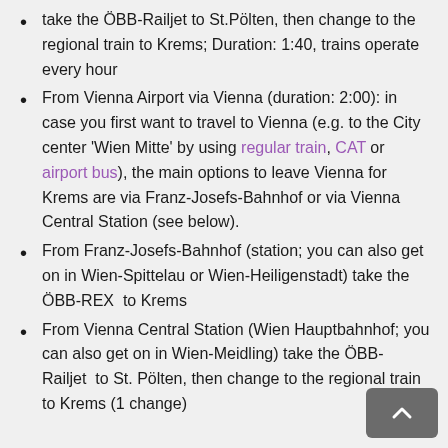take the ÖBB-Railjet to St.Pölten, then change to the regional train to Krems; Duration: 1:40, trains operate every hour
From Vienna Airport via Vienna (duration: 2:00): in case you first want to travel to Vienna (e.g. to the City center 'Wien Mitte' by using regular train, CAT or airport bus), the main options to leave Vienna for Krems are via Franz-Josefs-Bahnhof or via Vienna Central Station (see below).
From Franz-Josefs-Bahnhof (station; you can also get on in Wien-Spittelau or Wien-Heiligenstadt) take the ÖBB-REX  to Krems
From Vienna Central Station (Wien Hauptbahnhof; you can also get on in Wien-Meidling) take the ÖBB-Railjet  to St. Pölten, then change to the regional train to Krems (1 change)